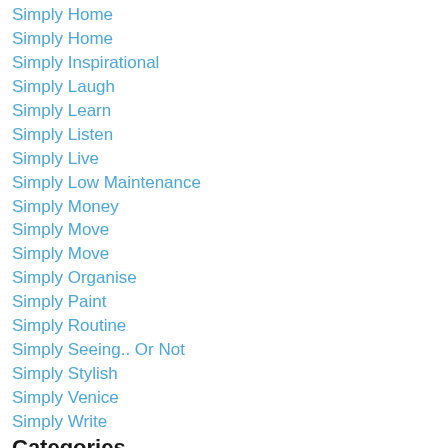Simply Home
Simply Home
Simply Inspirational
Simply Laugh
Simply Learn
Simply Listen
Simply Live
Simply Low Maintenance
Simply Money
Simply Move
Simply Move
Simply Organise
Simply Paint
Simply Routine
Simply Seeing.. Or Not
Simply Stylish
Simply Venice
Simply Write
Categories
All